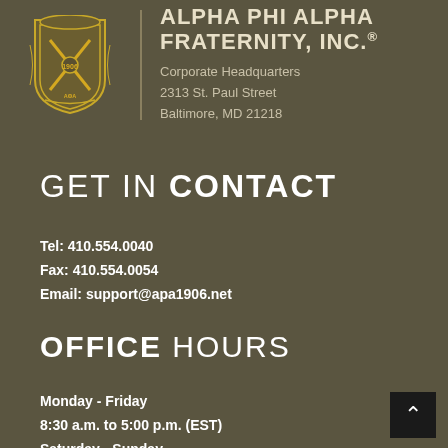[Figure (logo): Alpha Phi Alpha Fraternity crest/shield logo in gold and white on dark background]
ALPHA PHI ALPHA FRATERNITY, INC.®
Corporate Headquarters
2313 St. Paul Street
Baltimore, MD 21218
GET IN CONTACT
Tel: 410.554.0040
Fax: 410.554.0054
Email: support@apa1906.net
OFFICE HOURS
Monday - Friday
8:30 a.m. to 5:00 p.m. (EST)
Saturday - Sunday
Closed